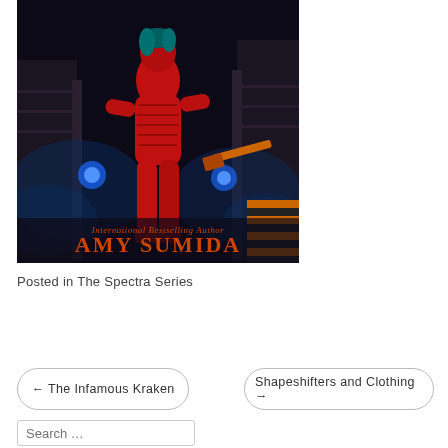[Figure (illustration): Book cover featuring a red-suited female figure with blue glowing hands, dark atmospheric background with smoke effects. Text on cover reads 'International Bestselling Author AMY SUMIDA']
Posted in The Spectra Series
← The Infamous Kraken
Shapeshifters and Clothing →
Search …